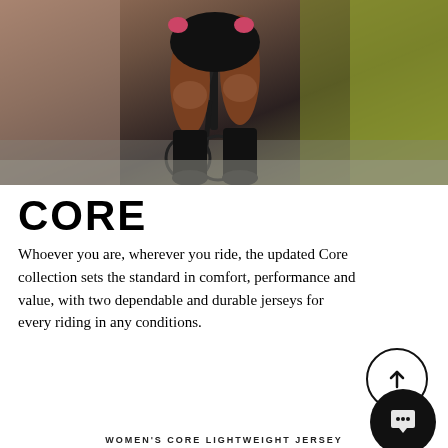[Figure (photo): Cyclist riding a black road bike, close-up from waist down showing legs in black cycling kit and socks, with pink gloves on handlebars. Dark background with green foliage on right.]
CORE
Whoever you are, wherever you ride, the updated Core collection sets the standard in comfort, performance and value, with two dependable and durable jerseys for every riding in any conditions.
WOMEN'S CORE LIGHTWEIGHT JERSEY